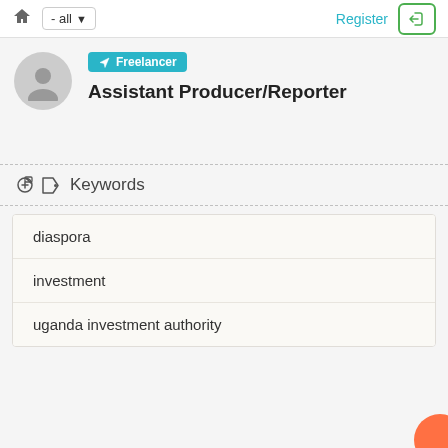- all   Register
Freelancer
Assistant Producer/Reporter
Keywords
diaspora
investment
uganda investment authority